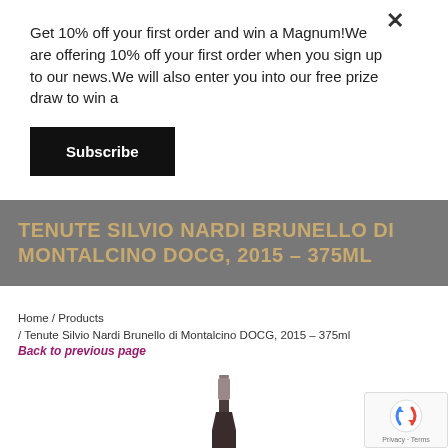Get 10% off your first order and win a Magnum!We are offering 10% off your first order when you sign up to our news.We will also enter you into our free prize draw to win a
Subscribe
TENUTE SILVIO NARDI BRUNELLO DI MONTALCINO DOCG, 2015 – 375ML
Home / Products / Tenute Silvio Nardi Brunello di Montalcino DOCG, 2015 – 375ml
Back to previous page
[Figure (photo): Top portion of a wine bottle with a dark grey/mauve capsule visible against a white background]
[Figure (logo): reCAPTCHA badge with Google reCAPTCHA logo and Privacy - Terms text]